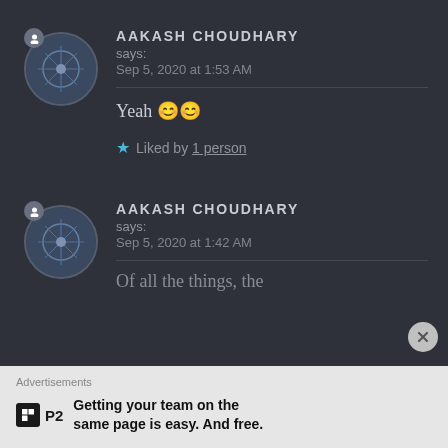AAKASH CHOUDHARY says: Sep 5, 2020 at 1:53 AM
Yeah 😊😊
★ Liked by 1 person
AAKASH CHOUDHARY says: Sep 5, 2020 at 1:42 AM
Of all the things, the
Advertisements
Getting your team on the same page is easy. And free.